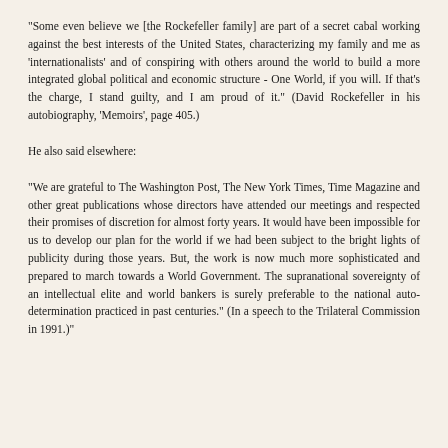"Some even believe we [the Rockefeller family] are part of a secret cabal working against the best interests of the United States, characterizing my family and me as 'internationalists' and of conspiring with others around the world to build a more integrated global political and economic structure - One World, if you will. If that's the charge, I stand guilty, and I am proud of it." (David Rockefeller in his autobiography, 'Memoirs', page 405.)
He also said elsewhere:
"We are grateful to The Washington Post, The New York Times, Time Magazine and other great publications whose directors have attended our meetings and respected their promises of discretion for almost forty years. It would have been impossible for us to develop our plan for the world if we had been subject to the bright lights of publicity during those years. But, the work is now much more sophisticated and prepared to march towards a World Government. The supranational sovereignty of an intellectual elite and world bankers is surely preferable to the national auto-determination practiced in past centuries." (In a speech to the Trilateral Commission in 1991.)"